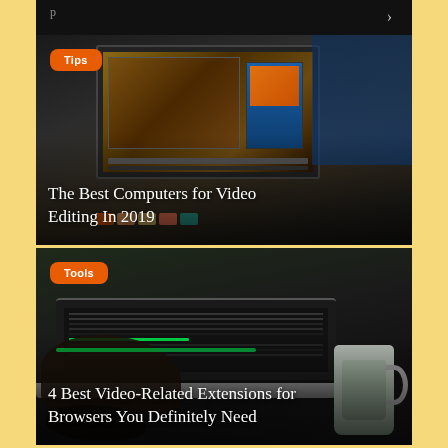[Figure (screenshot): Partial black top bar with partially visible text and a right arrow]
[Figure (photo): Photo of a video editing workstation with multiple monitors. An orange 'Tips' tag badge is in the upper left corner. White serif text reads 'The Best Computers for Video Editing In 2019' overlaid at the bottom.]
The Best Computers for Video Editing In 2019
[Figure (photo): Photo of hands typing on a laptop running video editing software with a mug on the right. An orange 'Tools' tag badge is in the upper left corner. White serif text reads '4 Best Video-Related Extensions for Browsers You Definitely Need' overlaid at the bottom.]
4 Best Video-Related Extensions for Browsers You Definitely Need